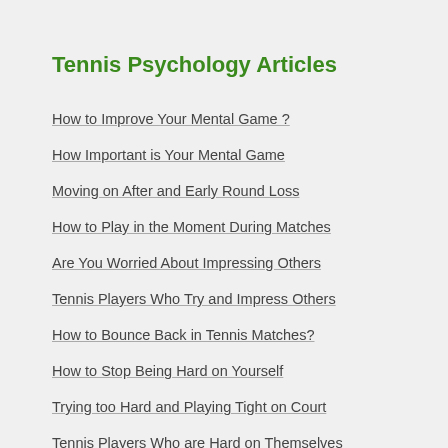Tennis Psychology Articles
How to Improve Your Mental Game ?
How Important is Your Mental Game
Moving on After and Early Round Loss
How to Play in the Moment During Matches
Are You Worried About Impressing Others
Tennis Players Who Try and Impress Others
How to Bounce Back in Tennis Matches?
How to Stop Being Hard on Yourself
Trying too Hard and Playing Tight on Court
Tennis Players Who are Hard on Themselves